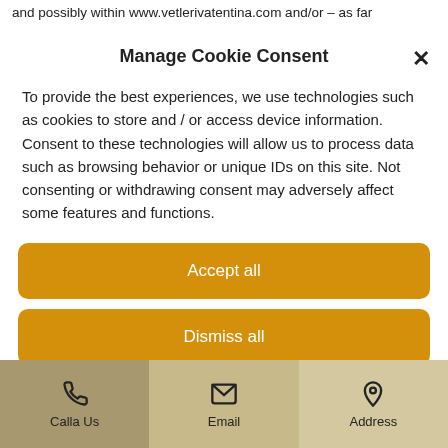and possibly within www.vetlerivatentina.com and/or – as far
Manage Cookie Consent
To provide the best experiences, we use technologies such as cookies to store and / or access device information. Consent to these technologies will allow us to process data such as browsing behavior or unique IDs on this site. Not consenting or withdrawing consent may adversely affect some features and functions.
Accept all
Dismiss all
View preferences
Calla Us
Email
Address